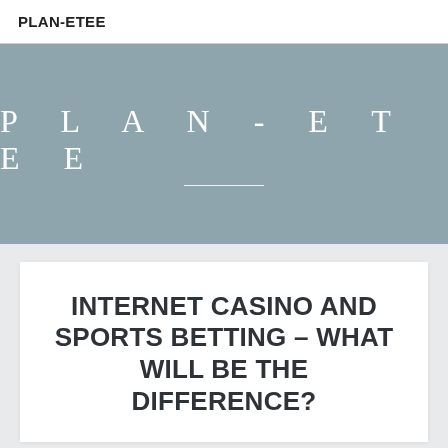PLAN-ETEE
[Figure (logo): PLAN-ETEE logo text in wide-spaced serif white letters on a muted blue-grey banner background with a thin white underline beneath the text]
INTERNET CASINO AND SPORTS BETTING – WHAT WILL BE THE DIFFERENCE?